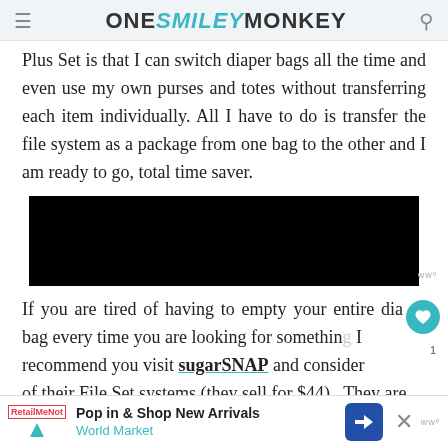ONE SMILEY MONKEY
Plus Set is that I can switch diaper bags all the time and even use my own purses and totes without transferring each item individually. All I have to do is transfer the file system as a package from one bag to the other and I am ready to go, total time saver.
[Figure (other): Black advertisement block with small watermark logo bottom right]
If you are tired of having to empty your entire diaper bag every time you are looking for something, I recommend you visit sugarSNAP and consider one of their File Set systems (they sell for $44). They are fully and they are
[Figure (other): Bottom advertisement banner: Pop in & Shop New Arrivals - World Market with navigation arrow icon]